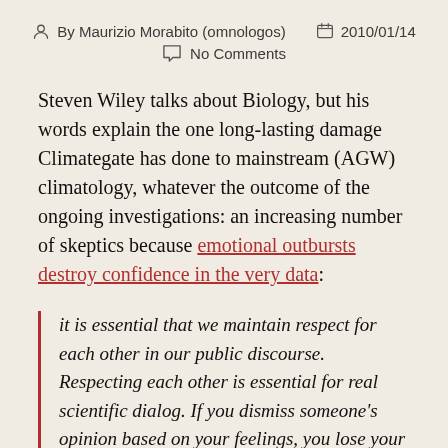By Maurizio Morabito (omnologos)  2010/01/14  No Comments
Steven Wiley talks about Biology, but his words explain the one long-lasting damage Climategate has done to mainstream (AGW) climatology, whatever the outcome of the ongoing investigations: an increasing number of skeptics because emotional outbursts destroy confidence in the very data:
it is essential that we maintain respect for each other in our public discourse. Respecting each other is essential for real scientific dialog. If you dismiss someone's opinion based on your feelings, you lose your objectivity. But being dismissive and emotional